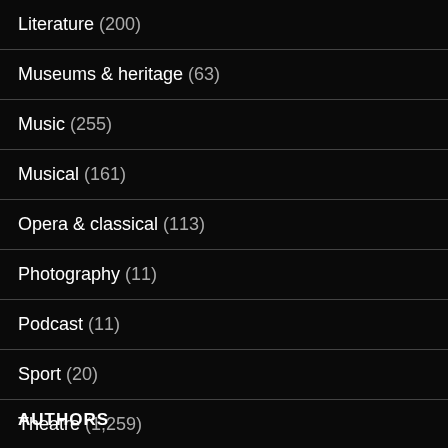Literature (200)
Museums & heritage (63)
Music (255)
Musical (161)
Opera & classical (113)
Photography (11)
Podcast (11)
Sport (20)
Theatre (1,259)
Uncategorized (192)
AUTHORS